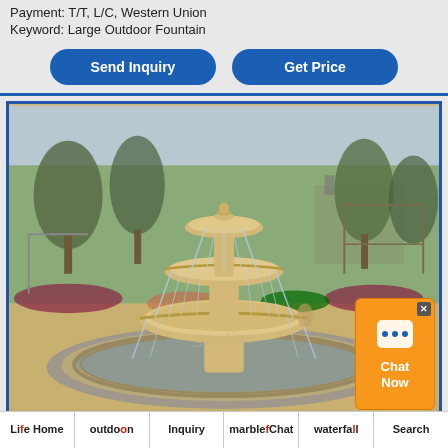Payment: T/T, L/C, Western Union
Keyword: Large Outdoor Fountain
Send Inquiry
Get Price
[Figure (photo): Large outdoor marble tiered fountain with water cascading from upper tiers into a wide circular pool, surrounded by a garden with trees, flowering shrubs, and a gazebo-like structure in the background. Watermark reads 'gaofine' in the center.]
Life Home outdoon Inquiry marble f Chat waterfall Search fountains on sale